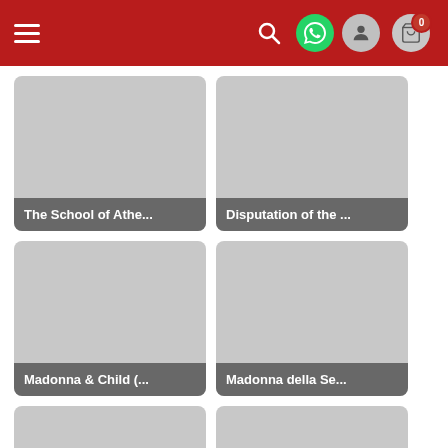Navigation bar with hamburger menu, search, WhatsApp, user, and cart icons
[Figure (screenshot): Product card image placeholder - The School of Athe...]
The School of Athe...
[Figure (screenshot): Product card image placeholder - Disputation of the ...]
Disputation of the ...
[Figure (screenshot): Product card image placeholder - Madonna & Child (...]
Madonna & Child (...
[Figure (screenshot): Product card image placeholder - Madonna della Se...]
Madonna della Se...
[Figure (screenshot): Product card image placeholder - partially visible bottom left]
[Figure (screenshot): Product card image placeholder - partially visible bottom right]